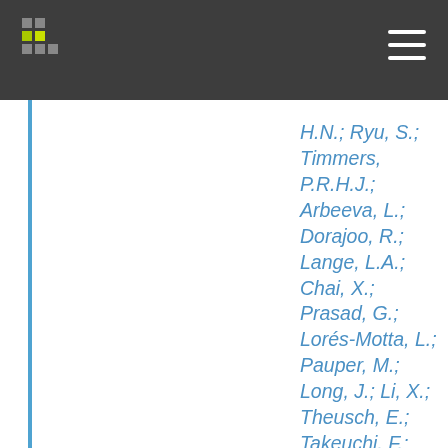H.N.; Ryu, S.; Timmers, P.R.H.J.; Arbeeva, L.; Dorajoo, R.; Lange, L.A.; Chai, X.; Prasad, G.; Lorés-Motta, L.; Pauper, M.; Long, J.; Li, X.; Theusch, E.; Takeuchi, F.; Spracklen, C.N.; Loukola, A.; Bollepalli, S.; Warner, S.C.; Wang, Y.X.; Wei, W.B.; Nutile, T.; Ruggiero, D.; Sung, Y.J.; Hung, Y.J.; Chen, S.; Liu, F.; Yang, J.; Kentistou, K.A.; Gorski, M.; Brumat, M.; Meidtner, K.;